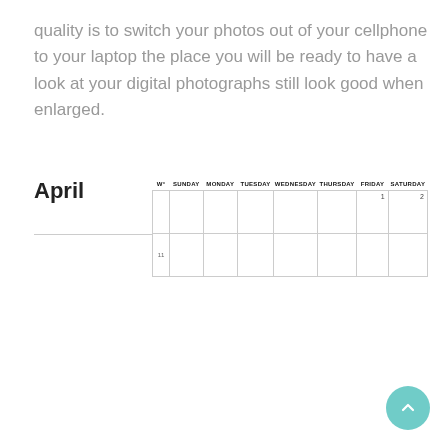quality is to switch your photos out of your cellphone to your laptop the place you will be ready to have a look at your digital photographs still look good when enlarged.
| W° | SUNDAY | MONDAY | TUESDAY | WEDNESDAY | THURSDAY | FRIDAY | SATURDAY |
| --- | --- | --- | --- | --- | --- | --- | --- |
|  |  |  |  |  |  | 1 | 2 |
| 11 |  |  |  |  |  |  |  |